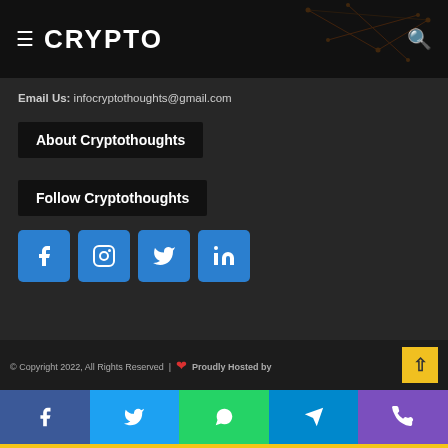≡ CRYPTO 🔍
Email Us: infocryptothoughts@gmail.com
About Cryptothoughts
Follow Cryptothoughts
[Figure (infographic): Social media icon buttons: Facebook, Instagram, Twitter, LinkedIn - all in blue square buttons]
© Copyright 2022, All Rights Reserved | ❤ Proudly Hosted by
[Figure (infographic): Share bar with Facebook, Twitter, WhatsApp, Telegram, Phone icons in colored buttons]